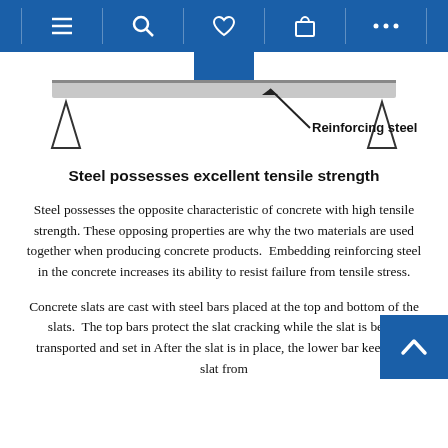Navigation bar with menu, search, heart, bag, and more icons
[Figure (engineering-diagram): Diagram of a reinforced concrete beam on two triangle supports with a label arrow pointing to 'Reinforcing steel' along the horizontal bar.]
Steel possesses excellent tensile strength
Steel possesses the opposite characteristic of concrete with high tensile strength. These opposing properties are why the two materials are used together when producing concrete products.  Embedding reinforcing steel in the concrete increases its ability to resist failure from tensile stress.
Concrete slats are cast with steel bars placed at the top and bottom of the slats.  The top bars protect the slat cracking while the slat is being transported and set in After the slat is in place, the lower bar keeps the slat from